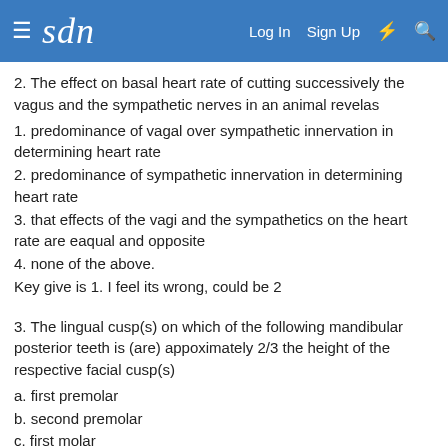sdn — Log In  Sign Up
2. The effect on basal heart rate of cutting successively the vagus and the sympathetic nerves in an animal revelas
1. predominance of vagal over sympathetic innervation in determining heart rate
2. predominance of sympathetic innervation in determining heart rate
3. that effects of the vagi and the sympathetics on the heart rate are eaqual and opposite
4. none of the above.
Key give is 1. I feel its wrong, could be 2
3. The lingual cusp(s) on which of the following mandibular posterior teeth is (are) appoximately 2/3 the height of the respective facial cusp(s)
a. first premolar
b. second premolar
c. first molar
d. second molar